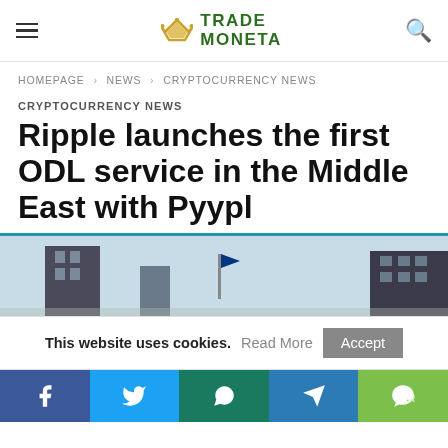TRADE MONETA
HOMEPAGE > NEWS > CRYPTOCURRENCY NEWS
CRYPTOCURRENCY NEWS
Ripple launches the first ODL service in the Middle East with Pyypl
[Figure (photo): City skyline with buildings and flags against blue sky]
This website uses cookies. Read More Accept
[Figure (infographic): Social share bar with Facebook, Twitter, WhatsApp, Telegram, WeChat icons]